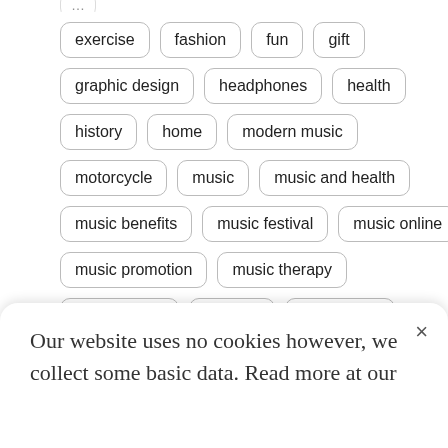exercise
fashion
fun
gift
graphic design
headphones
health
history
home
modern music
motorcycle
music
music and health
music benefits
music festival
music online
music promotion
music therapy
photography
practice
psychology
recording studio
singing
song writing
Our website uses no cookies however, we collect some basic data. Read more at our